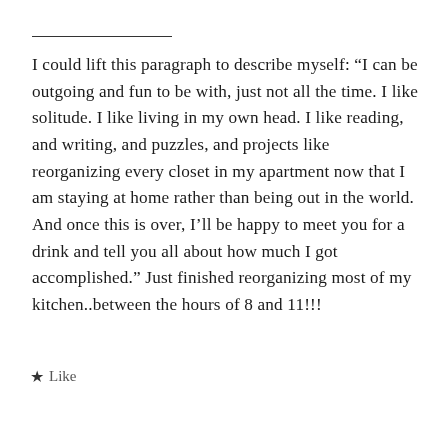I could lift this paragraph to describe myself: “I can be outgoing and fun to be with, just not all the time. I like solitude. I like living in my own head. I like reading, and writing, and puzzles, and projects like reorganizing every closet in my apartment now that I am staying at home rather than being out in the world. And once this is over, I’ll be happy to meet you for a drink and tell you all about how much I got accomplished.” Just finished reorganizing most of my kitchen..between the hours of 8 and 11!!!
★ Like